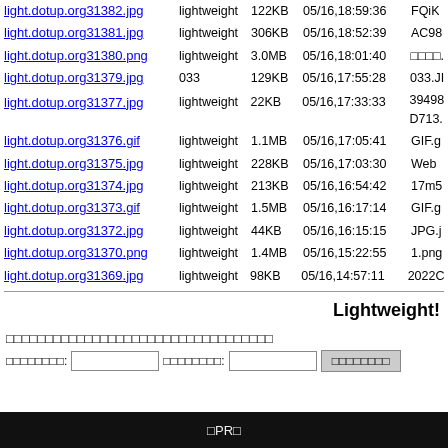light.dotup.org31382.jpg lightweight 122KB 05/16,18:59:36 FQiK
light.dotup.org31381.jpg lightweight 306KB 05/16,18:52:39 AC98
light.dotup.org31380.png lightweight 3.0MB 05/16,18:01:40 □□□□.
light.dotup.org31379.jpg 033 129KB 05/16,17:55:28 033.JI
light.dotup.org31377.jpg lightweight 22KB 05/16,17:33:33 39498 D713.
light.dotup.org31376.gif lightweight 1.1MB 05/16,17:05:41 GIF.g
light.dotup.org31375.jpg lightweight 228KB 05/16,17:03:30 Web
light.dotup.org31374.jpg lightweight 213KB 05/16,16:54:42 17m5
light.dotup.org31373.gif lightweight 1.5MB 05/16,16:17:14 GIF.g
light.dotup.org31372.jpg lightweight 44KB 05/16,16:15:15 JPG.j
light.dotup.org31370.png lightweight 1.4MB 05/16,15:22:55 1.png
light.dotup.org31369.jpg lightweight 98KB 05/16,14:57:11 2022C
Lightweight!
□□□□□□□□□□□□□□□□□□□□□□□□□□□□□□□□□□
□□□□□□□□: [input] □□□□□□□□: [input] [□□□□□□□□]
□PR□